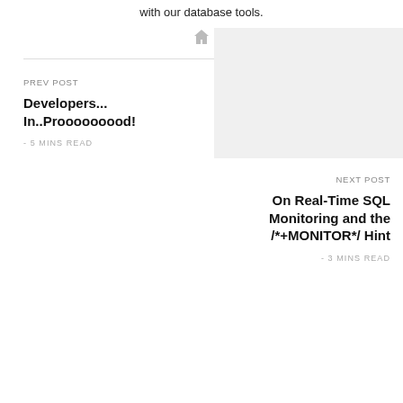with our database tools.
[Figure (illustration): Small gray home/house icon]
PREV POST
Developers... In..Prooooooood!
- 5 MINS READ
[Figure (photo): Gray placeholder image for next post]
NEXT POST
On Real-Time SQL Monitoring and the /*+MONITOR*/ Hint
- 3 MINS READ